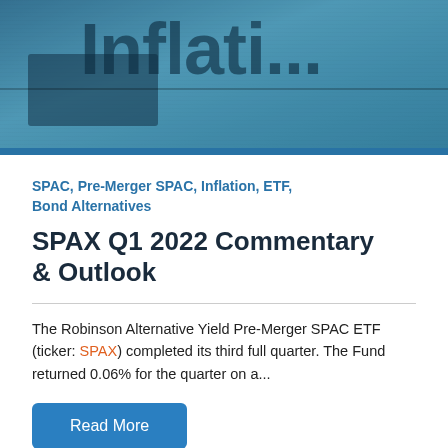[Figure (photo): Hero image with teal/blue toned background showing the word 'Inflati...' in large dark text, resembling a financial news banner about inflation]
SPAC, Pre-Merger SPAC, Inflation, ETF, Bond Alternatives
SPAX Q1 2022 Commentary & Outlook
The Robinson Alternative Yield Pre-Merger SPAC ETF (ticker: SPAX) completed its third full quarter. The Fund returned 0.06% for the quarter on a...
Read More